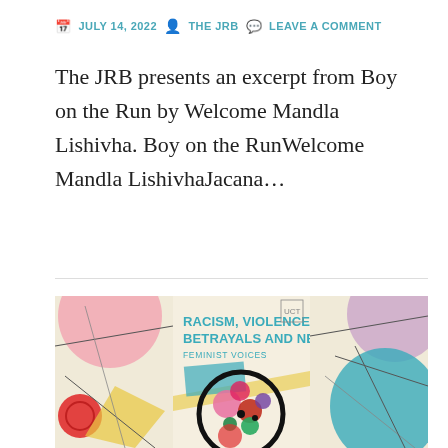JULY 14, 2022 | THE JRB | LEAVE A COMMENT
The JRB presents an excerpt from Boy on the Run by Welcome Mandla Lishivha. Boy on the RunWelcome Mandla LishivhaJacana…
[Figure (illustration): Book cover for 'Racism, Violence, Betrayals and New Imaginaries: Feminist Voices' featuring abstract colorful artwork in the style of Kandinsky with geometric shapes, circles, and lines on a light background.]